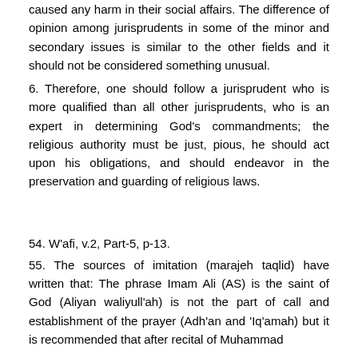caused any harm in their social affairs. The difference of opinion among jurisprudents in some of the minor and secondary issues is similar to the other fields and it should not be considered something unusual.
6. Therefore, one should follow a jurisprudent who is more qualified than all other jurisprudents, who is an expert in determining God's commandments; the religious authority must be just, pious, he should act upon his obligations, and should endeavor in the preservation and guarding of religious laws.
54. W'afi, v.2, Part-5, p-13.
55. The sources of imitation (marajeh taqlid) have written that: The phrase Imam Ali (AS) is the saint of God (Aliyan waliyull'ah) is not the part of call and establishment of the prayer (Adh'an and 'Iq'amah) but it is recommended that after recital of Muhammad